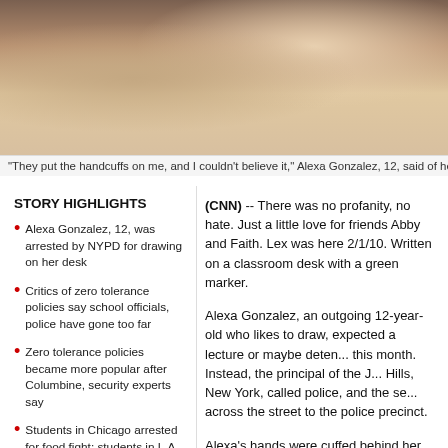[Figure (photo): Photo of Alexa Gonzalez, a 12-year-old girl, showing her face and upper body. She is wearing a jacket with fur-lined hood.]
"They put the handcuffs on me, and I couldn't believe it," Alexa Gonzalez, 12, said of her
STORY HIGHLIGHTS
Alexa Gonzalez, 12, was arrested by NYPD for drawing on her desk
Critics of zero tolerance policies say school officials, police have gone too far
Zero tolerance policies became more popular after Columbine, security experts say
Students in Chicago arrested for food fight; students in L.A. ticketed for tardiness
(CNN) -- There was no profanity, no hate. Just a little love for friends Abby and Faith. Lex was here 2/1/10. Written on a classroom desk with a green marker.
Alexa Gonzalez, an outgoing 12-year-old who likes to draw, expected a lecture or maybe detention after school this month. Instead, the principal of the J... Hills, New York, called police, and the se... across the street to the police precinct.
Alexa's hands were cuffed behind her ba... was escorted from school in front of teac... audience of all for a preadolescent girl --
"They put the handcuffs on me, and I cou... recalled. "I didn't want them to see me be... a bad person."